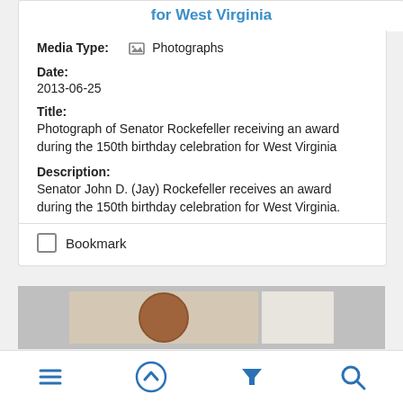for West Virginia
Media Type: Photographs
Date:
2013-06-25
Title:
Photograph of Senator Rockefeller receiving an award during the 150th birthday celebration for West Virginia
Description:
Senator John D. (Jay) Rockefeller receives an award during the 150th birthday celebration for West Virginia.
Bookmark
[Figure (photo): Partial photograph visible at bottom of screen showing a brown circular object/medal on a light background]
Navigation bar with menu, up arrow, filter, and search icons